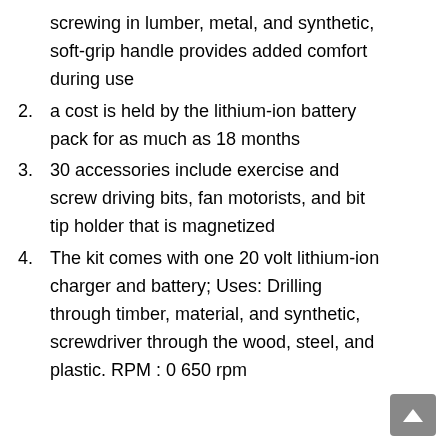screwing in lumber, metal, and synthetic, soft-grip handle provides added comfort during use
2. a cost is held by the lithium-ion battery pack for as much as 18 months
3. 30 accessories include exercise and screw driving bits, fan motorists, and bit tip holder that is magnetized
4. The kit comes with one 20 volt lithium-ion charger and battery; Uses: Drilling through timber, material, and synthetic, screwdriver through the wood, steel, and plastic. RPM : 0 650 rpm